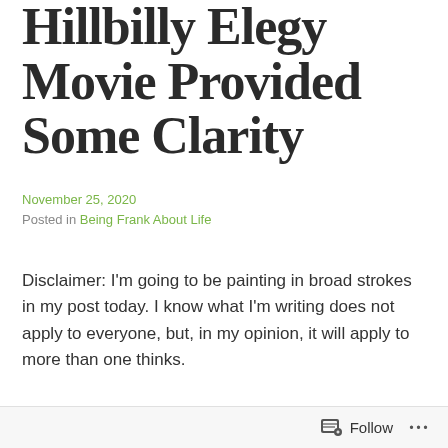Hillbilly Elegy Movie Provided Some Clarity
November 25, 2020
Posted in Being Frank About Life
Disclaimer: I'm going to be painting in broad strokes in my post today. I know what I'm writing does not apply to everyone, but, in my opinion, it will apply to more than one thinks.
I read the book Hillbilly Elegy when it first came out a few
Follow ...